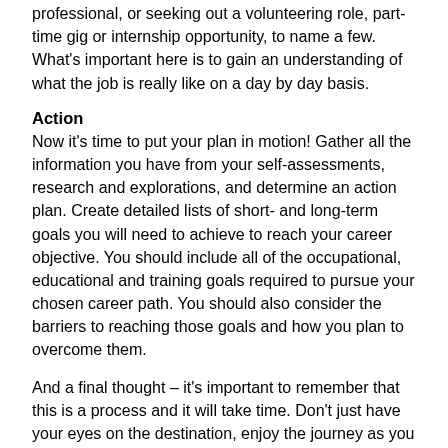professional, or seeking out a volunteering role, part-time gig or internship opportunity, to name a few. What's important here is to gain an understanding of what the job is really like on a day by day basis.
Action
Now it's time to put your plan in motion! Gather all the information you have from your self-assessments, research and explorations, and determine an action plan. Create detailed lists of short- and long-term goals you will need to achieve to reach your career objective. You should include all of the occupational, educational and training goals required to pursue your chosen career path. You should also consider the barriers to reaching those goals and how you plan to overcome them.
And a final thought – it's important to remember that this is a process and it will take time. Don't just have your eyes on the destination, enjoy the journey as you go and accept you may have the odd detour or two along the way!